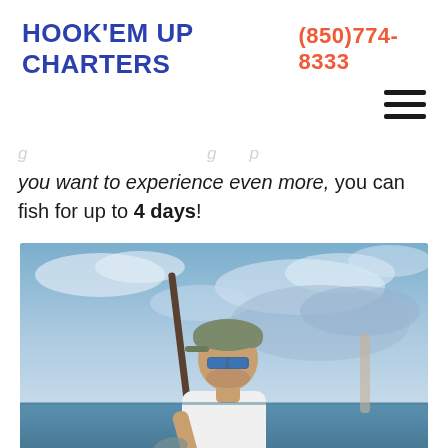HOOK'EM UP CHARTERS   (850)774-8333
you want to experience even more, you can fish for up to 4 days!
[Figure (photo): A man wearing sunglasses, a cap, and a white t-shirt standing on a boat holding a fishing rod with a fish, against a cloudy blue sky and ocean background.]